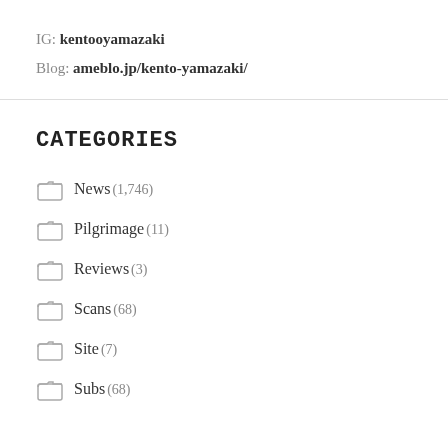IG: kentooyamazaki
Blog: ameblo.jp/kento-yamazaki/
CATEGORIES
News (1,746)
Pilgrimage (11)
Reviews (3)
Scans (68)
Site (7)
Subs (68)